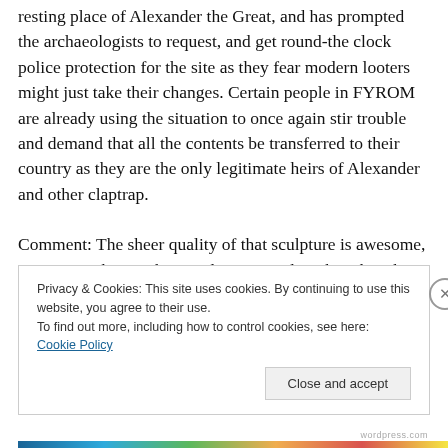resting place of Alexander the Great, and has prompted the archaeologists to request, and get round-the clock police protection for the site as they fear modern looters might just take their changes. Certain people in FYROM are already using the situation to once again stir trouble and demand that all the contents be transferred to their country as they are the only legitimate heirs of Alexander and other claptrap.
Comment: The sheer quality of that sculpture is awesome, no matter who or when made it. I wonder when that chap lost his head ? It does not look as though it would have
Privacy & Cookies: This site uses cookies. By continuing to use this website, you agree to their use.
To find out more, including how to control cookies, see here: Cookie Policy